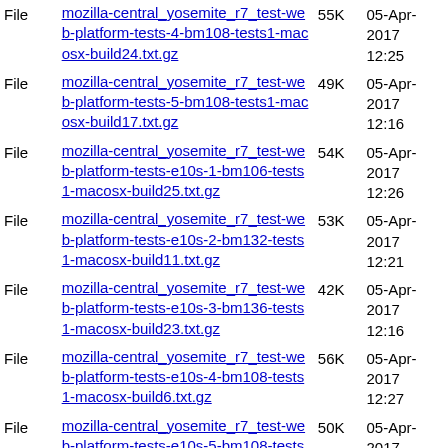| Type | Name | Size | Date |
| --- | --- | --- | --- |
| File | mozilla-central_yosemite_r7_test-web-platform-tests-4-bm108-tests1-macosx-build24.txt.gz | 55K | 05-Apr-2017 12:25 |
| File | mozilla-central_yosemite_r7_test-web-platform-tests-5-bm108-tests1-macosx-build17.txt.gz | 49K | 05-Apr-2017 12:16 |
| File | mozilla-central_yosemite_r7_test-web-platform-tests-e10s-1-bm106-tests1-macosx-build25.txt.gz | 54K | 05-Apr-2017 12:26 |
| File | mozilla-central_yosemite_r7_test-web-platform-tests-e10s-2-bm132-tests1-macosx-build11.txt.gz | 53K | 05-Apr-2017 12:21 |
| File | mozilla-central_yosemite_r7_test-web-platform-tests-e10s-3-bm136-tests1-macosx-build23.txt.gz | 42K | 05-Apr-2017 12:16 |
| File | mozilla-central_yosemite_r7_test-web-platform-tests-e10s-4-bm108-tests1-macosx-build6.txt.gz | 56K | 05-Apr-2017 12:27 |
| File | mozilla-central_yosemite_r7_test-web-platform-tests-e10s-5-bm108-tests1-macosx-build6.txt.gz | 50K | 05-Apr-2017 12:18 |
| File | mozilla-central_yosemite_r7_test-web-platform-tests-reftests-bm135-tests1-macosx-build11.txt.gz | 24K | 05-Apr-2017 12:06 |
| File | mozilla-central_yosemite_r7_test-web-... |  | 05-Apr-... |